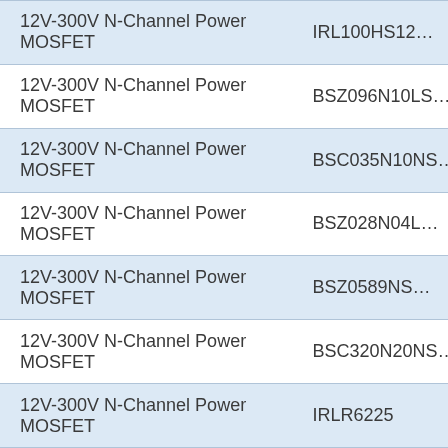| Description | Part Number |
| --- | --- |
| 12V-300V N-Channel Power MOSFET | IRL100HS12... |
| 12V-300V N-Channel Power MOSFET | BSZ096N10LS... |
| 12V-300V N-Channel Power MOSFET | BSC035N10NS... |
| 12V-300V N-Channel Power MOSFET | BSZ028N04L... |
| 12V-300V N-Channel Power MOSFET | BSZ0589NS... |
| 12V-300V N-Channel Power MOSFET | BSC320N20NS... |
| 12V-300V N-Channel Power MOSFET | IRLR6225 |